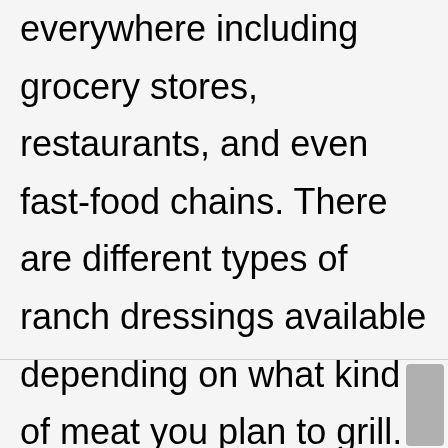everywhere including grocery stores, restaurants, and even fast-food chains. There are different types of ranch dressings available depending on what kind of meat you plan to grill.